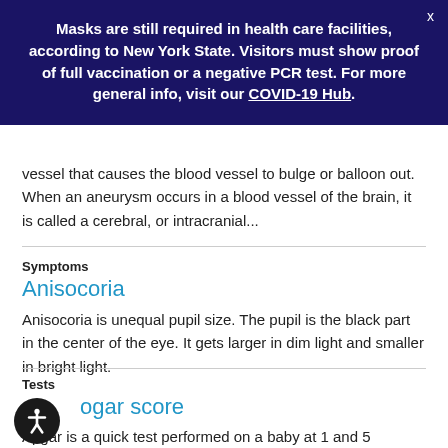Masks are still required in health care facilities, according to New York State. Visitors must show proof of full vaccination or a negative PCR test. For more general info, visit our COVID-19 Hub.
vessel that causes the blood vessel to bulge or balloon out. When an aneurysm occurs in a blood vessel of the brain, it is called a cerebral, or intracranial...
Symptoms
Anisocoria
Anisocoria is unequal pupil size. The pupil is the black part in the center of the eye. It gets larger in dim light and smaller in bright light.
Tests
Apgar score
Apgar is a quick test performed on a baby at 1 and 5